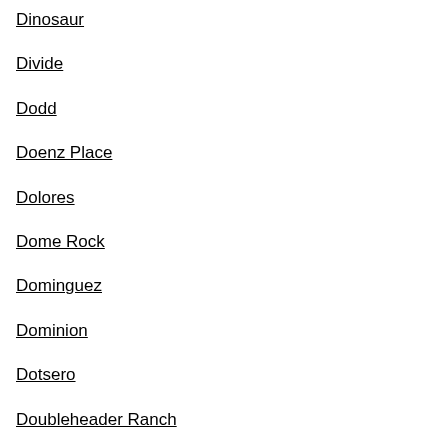Dinosaur
Divide
Dodd
Doenz Place
Dolores
Dome Rock
Dominguez
Dominion
Dotsero
Doubleheader Ranch
Dove Creek